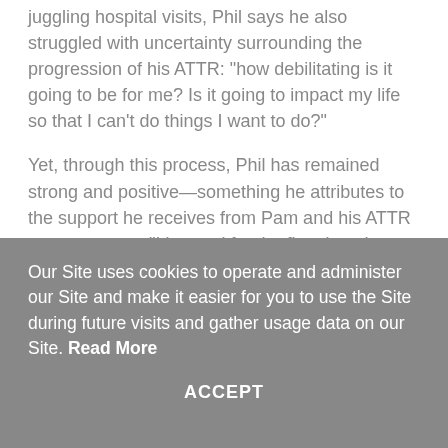juggling hospital visits, Phil says he also struggled with uncertainty surrounding the progression of his ATTR: “how debilitating is it going to be for me? Is it going to impact my life so that I can’t do things I want to do?”
Yet, through this process, Phil has remained strong and positive—something he attributes to the support he receives from Pam and his ATTR support group. “I learned for the first time that when someone in a relationship gets a disease, you both have it” he says. “I don’t know what I’d do without Pam.”
Our Site uses cookies to operate and administer our Site and make it easier for you to use the Site during future visits and gather usage data on our Site. Read More
ACCEPT